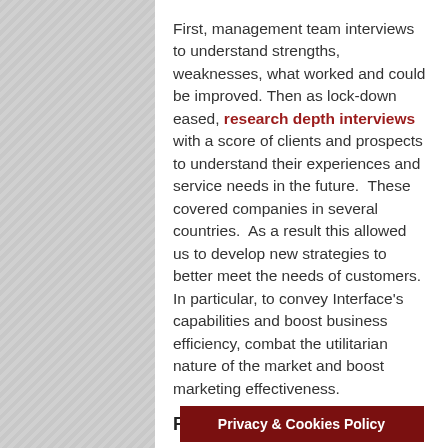First, management team interviews to understand strengths, weaknesses, what worked and could be improved. Then as lock-down eased, research depth interviews with a score of clients and prospects to understand their experiences and service needs in the future.  These covered companies in several countries.  As a result this allowed us to develop new strategies to better meet the needs of customers. In particular, to convey Interface's capabilities and boost business efficiency, combat the utilitarian nature of the market and boost marketing effectiveness.
Results
Outcomes included a new advertising campaign targ... and which also ch...